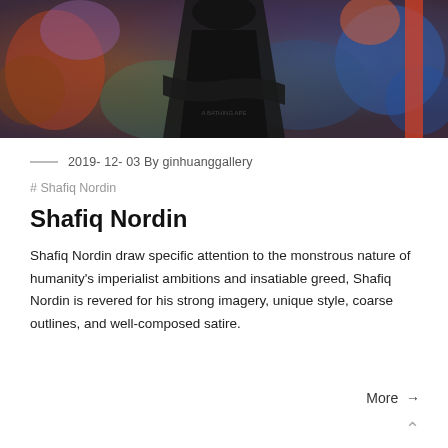[Figure (photo): Photo of Shafiq Nordin standing with arms crossed in front of colorful mural artwork]
2019- 12- 03 By ginhuanggallery
# Shafiq Nordin
Shafiq Nordin
Shafiq Nordin draw specific attention to the monstrous nature of humanity's imperialist ambitions and insatiable greed, Shafiq Nordin is revered for his strong imagery, unique style, coarse outlines, and well-composed satire.
More →
∧